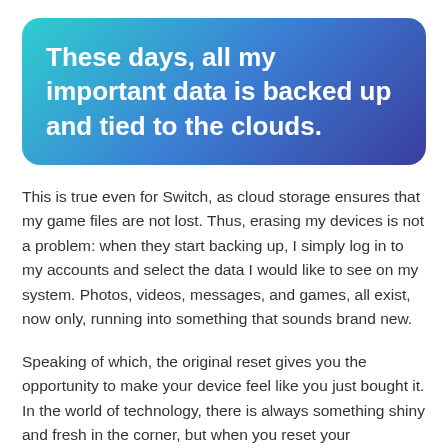These days, all my important data is backed up and tied to the clouds.
This is true even for Switch, as cloud storage ensures that my game files are not lost. Thus, erasing my devices is not a problem: when they start backing up, I simply log in to my accounts and select the data I would like to see on my system. Photos, videos, messages, and games, all exist, now only, running into something that sounds brand new.
Speaking of which, the original reset gives you the opportunity to make your device feel like you just bought it. In the world of technology, there is always something shiny and fresh in the corner, but when you reset your